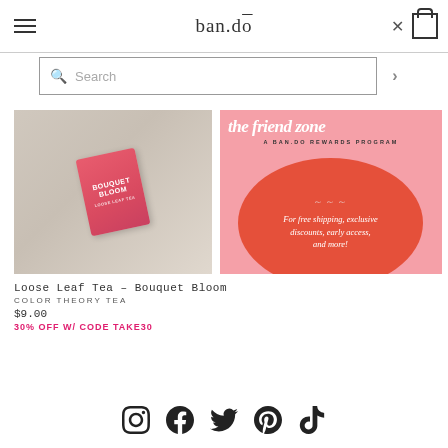ban.do
Search
[Figure (photo): Loose Leaf Tea - Bouquet Bloom product photo, pink tea box with floral elements on a white/grey fabric background]
[Figure (illustration): The Friend Zone - A ban.do Rewards Program promotional banner. Pink background with red circle, white italic text. For free shipping, exclusive discounts, early access, and more!]
Loose Leaf Tea - Bouquet Bloom
COLOR THEORY TEA
$9.00
30% OFF W/ CODE TAKE30
[Figure (infographic): Social media icons: Instagram, Facebook, Twitter, Pinterest, TikTok]